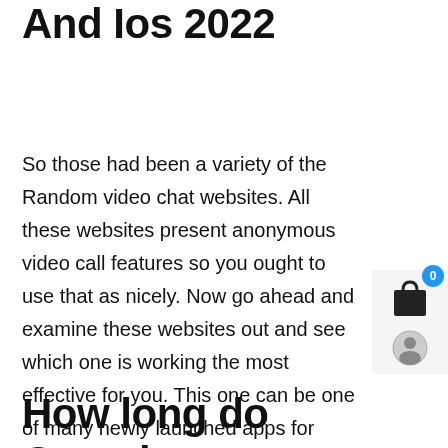And Ios 2022
So those had been a variety of the Random video chat websites. All these websites present anonymous video call features so you ought to use that as nicely. Now go ahead and examine these websites out and see which one is working the most effective for you. This one can be one of many newly launched apps for video calling. With the help of this app, you can easily chat with strangers and flirt with them. This one can be one of the best apps for video calling with strangers. The app could be downloaded in your Android and iOS devices, and it makes online chatting fairly fun.
How long do Omegle